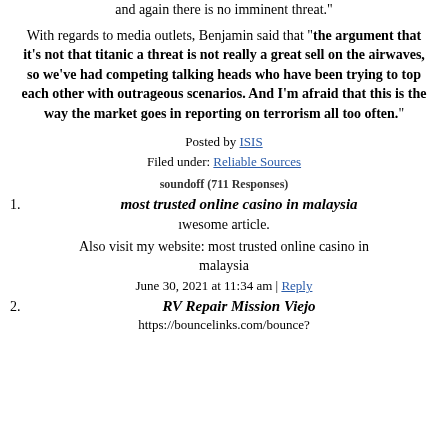and again there is no imminent threat."
With regards to media outlets, Benjamin said that "the argument that it's not that titanic a threat is not really a great sell on the airwaves, so we've had competing talking heads who have been trying to top each other with outrageous scenarios. And I'm afraid that this is the way the market goes in reporting on terrorism all too often."
Posted by ISIS
Filed under: Reliable Sources
soundoff (711 Responses)
1. most trusted online casino in malaysia
ıwesome article.

Also visit my website: most trusted online casino in malaysia

June 30, 2021 at 11:34 am | Reply
2. RV Repair Mission Viejo

https://bouncelinks.com/bounce?